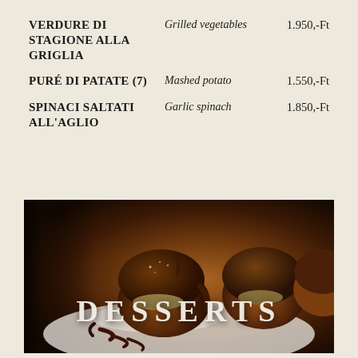VERDURE DI STAGIONE ALLA GRIGLIA | Grilled vegetables | 1.950,-Ft
PURÉ DI PATATE (7) | Mashed potato | 1.550,-Ft
SPINACI SALTATI ALL'AGLIO | Garlic spinach | 1.850,-Ft
[Figure (photo): Photo of chocolate profiteroles/cream puffs with chocolate glaze on a white plate, with chocolate sauce drizzle. Overlay text reads DESSERTS.]